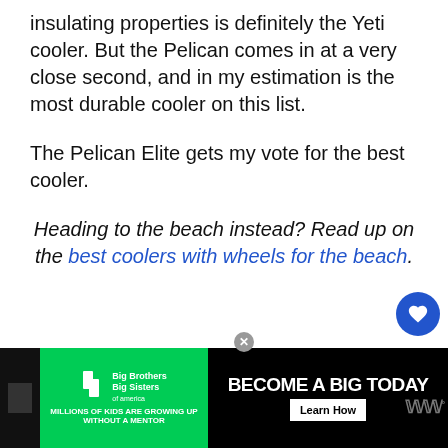insulating properties is definitely the Yeti cooler. But the Pelican comes in at a very close second, and in my estimation is the most durable cooler on this list.
The Pelican Elite gets my vote for the best cooler.
Heading to the beach instead? Read up on the best coolers with wheels for the beach.
Frequently Asked Questions
[Figure (screenshot): Big Brothers Big Sisters advertisement banner: green and black background, text 'MILLIONS OF KIDS ARE GROWING UP WITHOUT A MENTOR BECOME A BIG TODAY' with Learn How button]